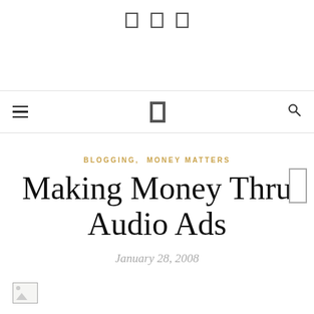[social icons] [nav bar with hamburger menu, logo placeholder, search icon]
BLOGGING, MONEY MATTERS
Making Money Thru Audio Ads
January 28, 2008
[Figure (other): Broken image placeholder thumbnail in bottom-left corner]